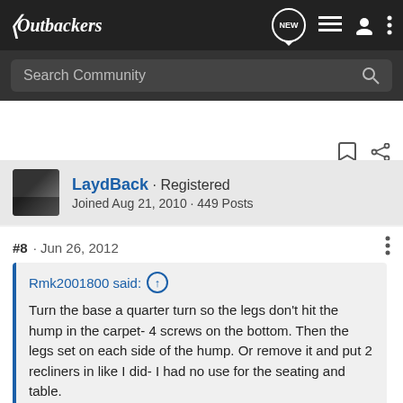Outbackers
Search Community
LaydBack · Registered
Joined Aug 21, 2010 · 449 Posts
#8 · Jun 26, 2012
Rmk2001800 said: ↑
Turn the base a quarter turn so the legs don't hit the hump in the carpet- 4 screws on the bottom. Then the legs set on each side of the hump. Or remove it and put 2 recliners in like I did- I had no use for the seating and table.